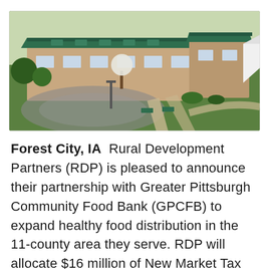[Figure (photo): Aerial view of a building complex with a green metal roof, brick walls, surrounding green lawn, parking lot, and walkways. Trees and a white tent structure visible.]
Forest City, IA  Rural Development Partners (RDP) is pleased to announce their partnership with Greater Pittsburgh Community Food Bank (GPCFB) to expand healthy food distribution in the 11-county area they serve. RDP will allocate $16 million of New Market Tax Credits (NMTC) to renovate and expand the Duquesne, Pennsylvania Food Bank; serving as